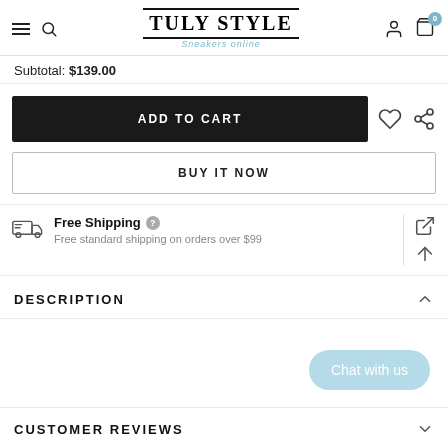TULY STYLE - Sneakers online
Subtotal: $139.00
ADD TO CART
BUY IT NOW
Free Shipping
Free standard shipping on orders over $99
DESCRIPTION
Chat with us
CUSTOMER REVIEWS